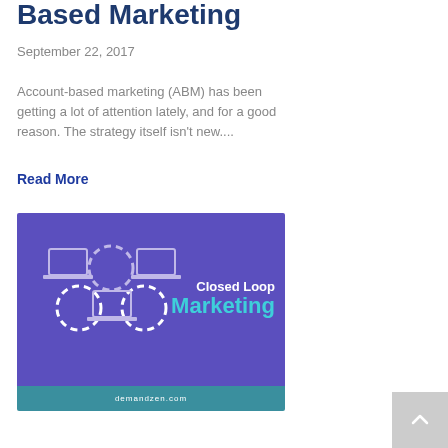Based Marketing
September 22, 2017
Account-based marketing (ABM) has been getting a lot of attention lately, and for a good reason. The strategy itself isn't new....
Read More
[Figure (illustration): Purple promotional image with laptop/network icons and text 'Closed Loop Marketing' with demandzen.com watermark]